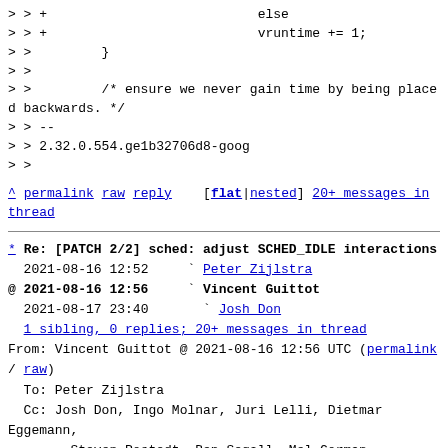> > +                           else
> > +                           vruntime += 1;
> >         }
> >
> >         /* ensure we never gain time by being placed backwards. */
> > --
> > 2.32.0.554.ge1b32706d8-goog
> >
^ permalink raw reply   [flat|nested] 20+ messages in thread
* Re: [PATCH 2/2] sched: adjust SCHED_IDLE interactions
  2021-08-16 12:52     ` Peter Zijlstra
@ 2021-08-16 12:56     ` Vincent Guittot
  2021-08-17 23:40       ` Josh Don
  1 sibling, 0 replies; 20+ messages in thread
From: Vincent Guittot @ 2021-08-16 12:56 UTC (permalink / raw)
  To: Peter Zijlstra
  Cc: Josh Don, Ingo Molnar, Juri Lelli, Dietmar Eggemann,
        Steven Rostedt, Ben Segall, Mel Gorman,
        Daniel Bristot de Oliveira, Paul Turner, Oleg Rombakh,
        Viresh Kumar, Steve Sistare, Tejun Heo, Rik van Riel,
        linux-kernel